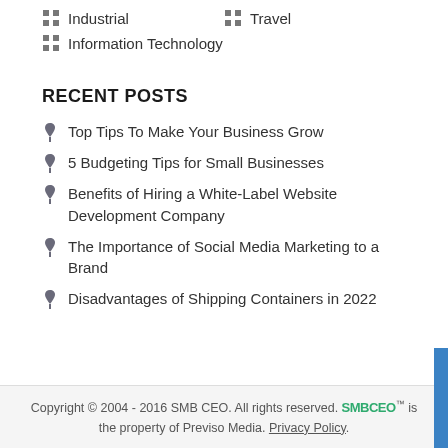Industrial
Travel
Information Technology
RECENT POSTS
Top Tips To Make Your Business Grow
5 Budgeting Tips for Small Businesses
Benefits of Hiring a White-Label Website Development Company
The Importance of Social Media Marketing to a Brand
Disadvantages of Shipping Containers in 2022
Copyright © 2004 - 2016 SMB CEO. All rights reserved. SMBCEO™ is the property of Previso Media. Privacy Policy.